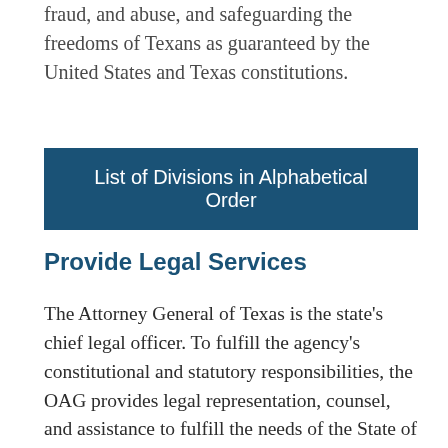fraud, and abuse, and safeguarding the freedoms of Texans as guaranteed by the United States and Texas constitutions.
List of Divisions in Alphabetical Order
Provide Legal Services
The Attorney General of Texas is the state's chief legal officer. To fulfill the agency's constitutional and statutory responsibilities, the OAG provides legal representation, counsel, and assistance to fulfill the needs of the State of Texas and its authorized entities and employees, including state officers, state agencies, and institutions of higher education.